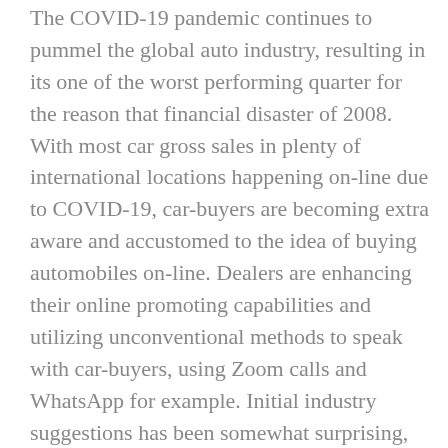The COVID-19 pandemic continues to pummel the global auto industry, resulting in its one of the worst performing quarter for the reason that financial disaster of 2008. With most car gross sales in plenty of international locations happening on-line due to COVID-19, car-buyers are becoming extra aware and accustomed to the idea of buying automobiles on-line. Dealers are enhancing their online promoting capabilities and utilizing unconventional methods to speak with car-buyers, using Zoom calls and WhatsApp for example. Initial industry suggestions has been somewhat surprising, revealing an overall higher buying expertise by way of compared to walk-ins. Adhering to new security norms, i.e. frequent plant sanitization, sporting of face masks, and temperature checks upon entry – Daimler and Hyundai have resumed production at their Alabama crops in the last